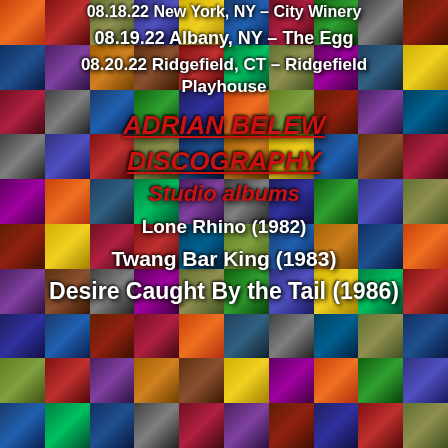[Figure (photo): Collage of album covers forming a mosaic background]
08.18.22 New York, NY – City Winery
08.19.22 Albany, NY – The Egg
08.20.22 Ridgefield, CT – Ridgefield Playhouse
ADRIAN BELEW DISCOGRAPHY
Studio albums
Lone Rhino (1982)
Twang Bar King (1983)
Desire Caught By the Tail (1986)